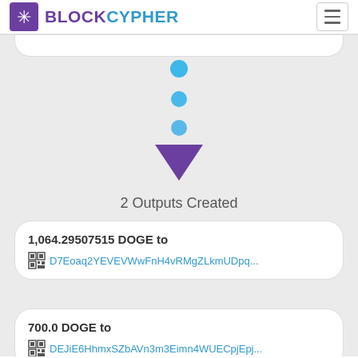[Figure (logo): BlockCypher logo with purple gear icon and BLOCKCYPHER text in purple and blue]
[Figure (infographic): Three blue dots stacked vertically above a downward-pointing purple triangle arrow, indicating transaction flow]
2 Outputs Created
1,064.29507515 DOGE to
D7Eoaq2YEVEVWwFnH4vRMgZLkmUDpq...
700.0 DOGE to
DEJiE6HhmxSZbAVn3m3Eimn4WUECpjEpj...